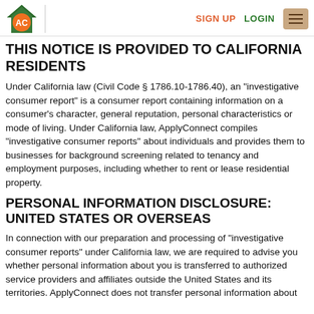AC logo | SIGN UP  LOGIN  [menu]
THIS NOTICE IS PROVIDED TO CALIFORNIA RESIDENTS
Under California law (Civil Code § 1786.10-1786.40), an "investigative consumer report" is a consumer report containing information on a consumer's character, general reputation, personal characteristics or mode of living. Under California law, ApplyConnect compiles "investigative consumer reports" about individuals and provides them to businesses for background screening related to tenancy and employment purposes, including whether to rent or lease residential property.
PERSONAL INFORMATION DISCLOSURE: UNITED STATES OR OVERSEAS
In connection with our preparation and processing of "investigative consumer reports" under California law, we are required to advise you whether personal information about you is transferred to authorized service providers and affiliates outside the United States and its territories. ApplyConnect does not transfer personal information about you outside the United States and its territories in